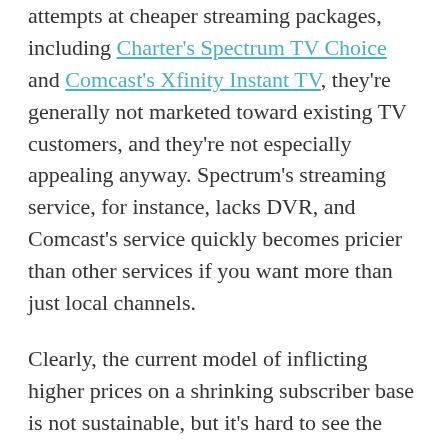attempts at cheaper streaming packages, including Charter's Spectrum TV Choice and Comcast's Xfinity Instant TV, they're generally not marketed toward existing TV customers, and they're not especially appealing anyway. Spectrum's streaming service, for instance, lacks DVR, and Comcast's service quickly becomes pricier than other services if you want more than just local channels.
Clearly, the current model of inflicting higher prices on a shrinking subscriber base is not sustainable, but it's hard to see the traditional TV business—including both cable providers and networks—changing their ways until they have nothing left to lose. I can't say exactly when that's going to happen. But if history's any guide, it'll probably be sooner than they expect.
*Sign up for Jared's Cord Cutter Weekly newsletter...